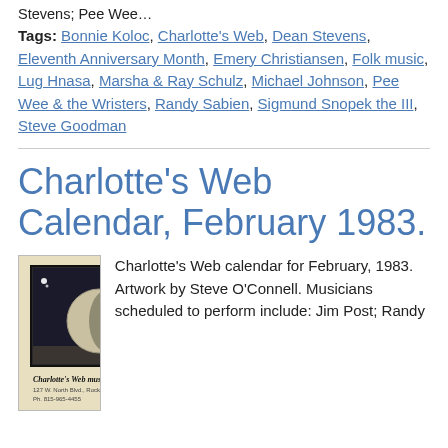Stevens; Pee Wee…
Tags: Bonnie Koloc, Charlotte's Web, Dean Stevens, Eleventh Anniversary Month, Emery Christiansen, Folk music, Lug Hnasa, Marsha & Ray Schulz, Michael Johnson, Pee Wee & the Wristers, Randy Sabien, Sigmund Snopek the III, Steve Goodman
Charlotte's Web Calendar, February 1983.
[Figure (photo): Charlotte's Web music cafe calendar mailer for February 1983, showing artwork of a moon/sphere above a landscape with stars, in black and white. Bottom shows 'Charlotte's Web music cafe' text and address. A mailing label and stamp area visible at right.]
Charlotte's Web calendar for February, 1983. Artwork by Steve O'Connell. Musicians scheduled to perform include: Jim Post; Randy